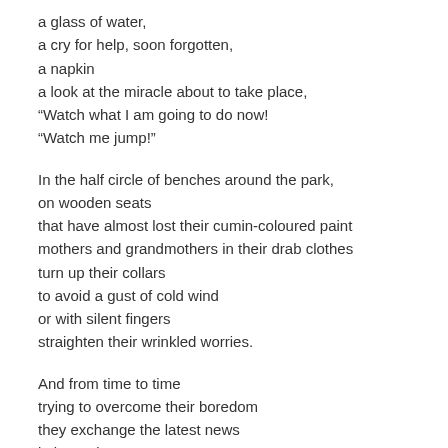a glass of water,
a cry for help, soon forgotten,
a napkin
a look at the miracle about to take place,
“Watch what I am going to do now!
“Watch me jump!"
In the half circle of benches around the park,
on wooden seats
that have almost lost their cumin-coloured paint
mothers and grandmothers in their drab clothes
turn up their collars
to avoid a gust of cold wind
or with silent fingers
straighten their wrinkled worries.
And from time to time
trying to overcome their boredom
they exchange the latest news
in low voices.